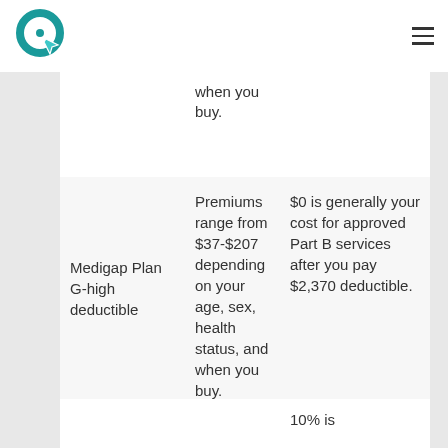Logo and navigation header
| Plan | Cost | Coverage |
| --- | --- | --- |
|  | when you buy. |  |
| Medigap Plan G-high deductible | Premiums range from $37-$207 depending on your age, sex, health status, and when you buy. | $0 is generally your cost for approved Part B services after you pay $2,370 deductible. |
|  | 10% is... |  |